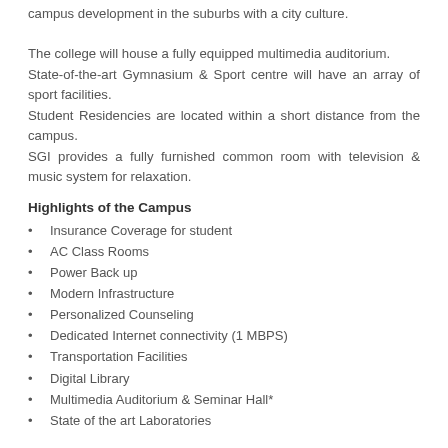campus development in the suburbs with a city culture.
The college will house a fully equipped multimedia auditorium. State-of-the-art Gymnasium & Sport centre will have an array of sport facilities. Student Residencies are located within a short distance from the campus. SGI provides a fully furnished common room with television & music system for relaxation.
Highlights of the Campus
Insurance Coverage for student
AC Class Rooms
Power Back up
Modern Infrastructure
Personalized Counseling
Dedicated Internet connectivity (1 MBPS)
Transportation Facilities
Digital Library
Multimedia Auditorium & Seminar Hall*
State of the art Laboratories